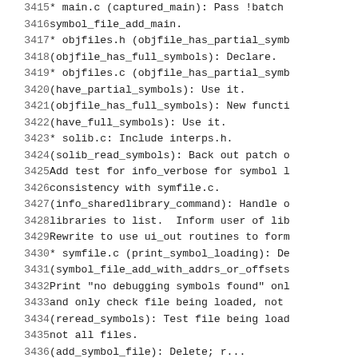3415    * main.c (captured_main): Pass !batch symbol_file_add_main.
3416    symbol_file_add_main.
3417    * objfiles.h (objfile_has_partial_symb
3418    (objfile_has_full_symbols): Declare.
3419    * objfiles.c (objfile_has_partial_symb
3420    (have_partial_symbols): Use it.
3421    (objfile_has_full_symbols): New functi
3422    (have_full_symbols): Use it.
3423    * solib.c: Include interps.h.
3424    (solib_read_symbols): Back out patch o
3425    Add test for info_verbose for symbol l
3426    consistency with symfile.c.
3427    (info_sharedlibrary_command): Handle o
3428    libraries to list.  Inform user of lib
3429    Rewrite to use ui_out routines to form
3430    * symfile.c (print_symbol_loading): De
3431    (symbol_file_add_with_addrs_or_offsets
3432    Print "no debugging symbols found" onl
3433    and only check file being loaded, not
3434    (reread_symbols): Test file being load
3435    not all files.
3436    (add_symbol_file): Delete; r...